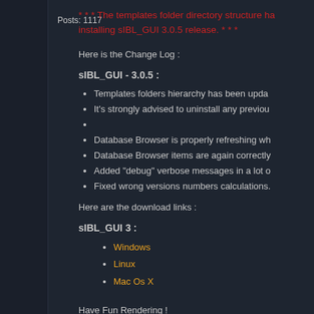Posts: 1117
* * * The templates folder directory structure has changed, please read the readme before installing sIBL_GUI 3.0.5 release. * * *
Here is the Change Log :
sIBL_GUI - 3.0.5 :
Templates folders hierarchy has been upda...
It's strongly advised to uninstall any previous...
Database Browser is properly refreshing wh...
Database Browser items are again correctly...
Added "debug" verbose messages in a lot o...
Fixed wrong versions numbers calculations.
Here are the download links :
sIBL_GUI 3 :
Windows
Linux
Mac Os X
Have Fun Rendering !